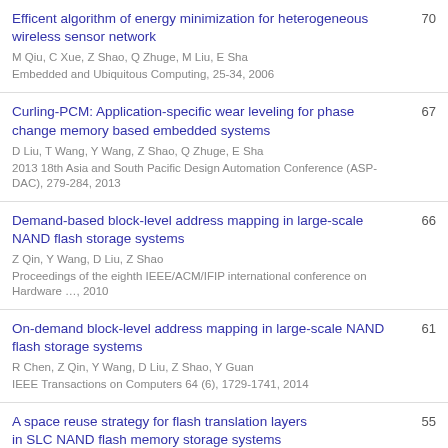Efficent algorithm of energy minimization for heterogeneous wireless sensor network
M Qiu, C Xue, Z Shao, Q Zhuge, M Liu, E Sha
Embedded and Ubiquitous Computing, 25-34, 2006
70
Curling-PCM: Application-specific wear leveling for phase change memory based embedded systems
D Liu, T Wang, Y Wang, Z Shao, Q Zhuge, E Sha
2013 18th Asia and South Pacific Design Automation Conference (ASP-DAC), 279-284, 2013
67
Demand-based block-level address mapping in large-scale NAND flash storage systems
Z Qin, Y Wang, D Liu, Z Shao
Proceedings of the eighth IEEE/ACM/IFIP international conference on Hardware …, 2010
66
On-demand block-level address mapping in large-scale NAND flash storage systems
R Chen, Z Qin, Y Wang, D Liu, Z Shao, Y Guan
IEEE Transactions on Computers 64 (6), 1729-1741, 2014
61
A space reuse strategy for flash translation layers in SLC NAND flash memory storage systems
55